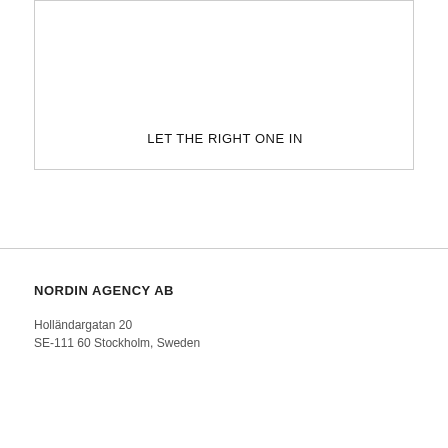[Figure (other): White rectangular box with border, containing the text 'LET THE RIGHT ONE IN']
LET THE RIGHT ONE IN
NORDIN AGENCY AB
Holländargatan 20
SE-111 60 Stockholm, Sweden